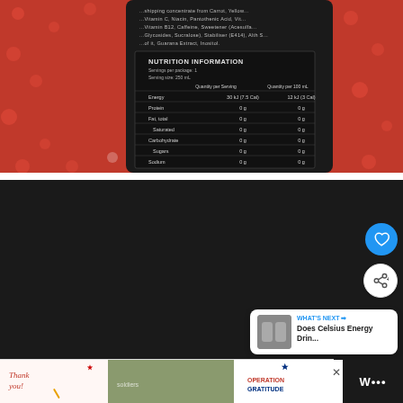[Figure (photo): Close-up photo of the back of an energy drink can showing Nutrition Information label with rows for Energy (30 kJ / 7.5 Cal), Protein (0g), Fat total (0g), Saturated (0g), Carbohydrate (0g), Sugars (0g), Sodium (0g). Background is a red fabric with white polka dots. A hand holds the dark/black can.]
[Figure (photo): Dark/black nearly blank rectangular area — appears to be a continuation of the can photo but shows mostly black background. In the bottom-right area there is a 'What's Next' card showing a thumbnail of Celsius energy drink cans and text 'WHAT'S NEXT → Does Celsius Energy Drin...'. There are also a blue circular heart/like button and a white circular share button on the right side.]
[Figure (photo): Advertisement banner at the bottom of the page showing 'Thank you!' handwritten text with a pencil, American flag star, soldiers in military camouflage, and 'OPERATION GRATITUDE' logo with a blue star. A close (×) button is visible.]